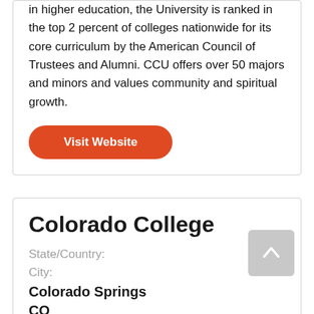in higher education, the University is ranked in the top 2 percent of colleges nationwide for its core curriculum by the American Council of Trustees and Alumni. CCU offers over 50 majors and minors and values community and spiritual growth.
Visit Website
Colorado College
State/Country:
City:
Colorado Springs
CO
Description: